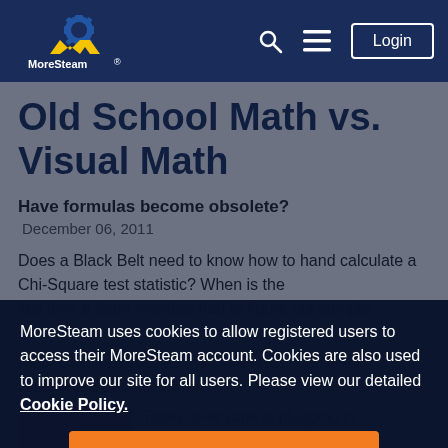MoreSteam navigation bar with logo, search, menu, and Login button
Old School Math vs. Visual Math
Have formulas become obsolete?
December 06, 2011
Does a Black Belt need to know how to hand calculate a Chi-Square test statistic? When is the last time a team member had to figure out sample
MoreSteam uses cookies to allow registered users to access their MoreSteam account. Cookies are also used to improve our site for all users. Please view our detailed Cookie Policy.
I Agree
Keith Devlin (known as the "Math Guy" on NPR's Weekend Edition Saturday).
Today, everyone is plugging in